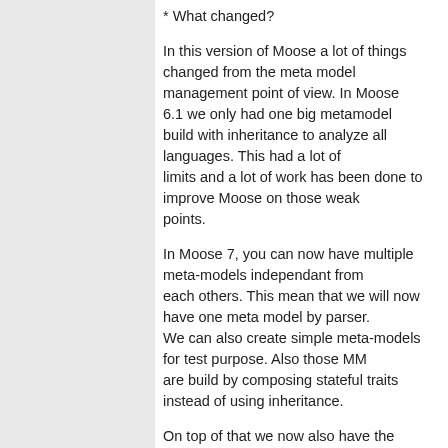* What changed?
In this version of Moose a lot of things changed from the meta model management point of view. In Moose 6.1 we only had one big metamodel build with inheritance to analyze all languages. This had a lot of limits and a lot of work has been done to improve Moose on those weak points.
In Moose 7, you can now have multiple meta-models independant from each others. This mean that we will now have one meta model by parser. We can also create simple meta-models for test purpose. Also those MM are build by composing stateful traits instead of using inheritance.
On top of that we now also have the possibility to use generators to manage meta-models. Instead of writing every classes by hand, we can describe a meta-model in a generator and use it to generate the MM. Then we can use it to regenerate it also.
Pavel, who did most of the work, wrote some